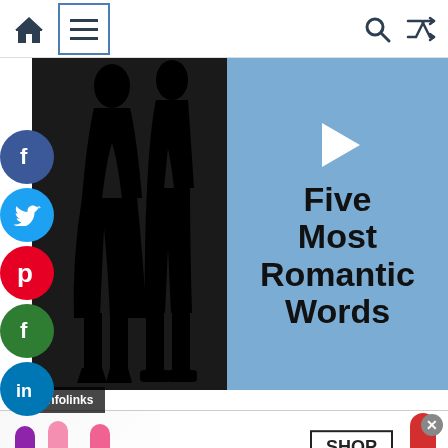[Figure (screenshot): Website navigation bar with home icon, hamburger menu (highlighted with blue border), search icon, and shuffle icon]
[Figure (screenshot): Video thumbnail showing silhouettes of a couple on the left (black background) and text 'Five Most Romantic Words' on blue background on the right, with a play button]
[Figure (screenshot): Social media share buttons sidebar: Facebook (blue), Twitter (blue), Pinterest (red), Facebook (green), LinkedIn (blue)]
[Figure (screenshot): Infolinks advertisement label at bottom of video]
[Figure (screenshot): M·A·C cosmetics advertisement banner showing lipsticks and 'SHOP NOW' button]